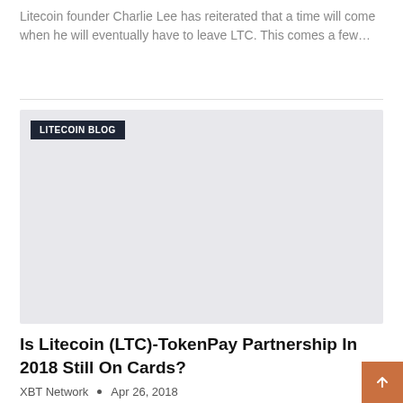Litecoin founder Charlie Lee has reiterated that a time will come when he will eventually have to leave LTC. This comes a few…
[Figure (other): Card image placeholder with 'LITECOIN BLOG' badge label on dark background, gray image area]
Is Litecoin (LTC)-TokenPay Partnership In 2018 Still On Cards?
XBT Network  •  Apr 26, 2018
Litecoin Foundation tweet fuels speculation TokenPay deal could be